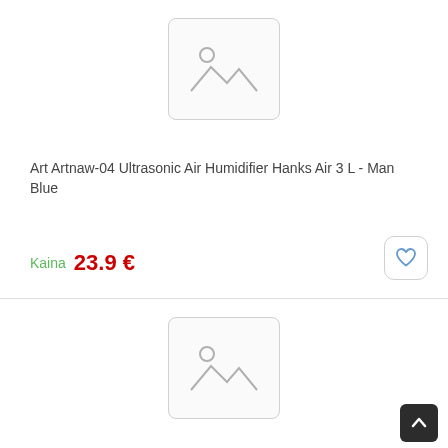[Figure (photo): Placeholder image icon for product - rounded rectangle with mountain and circle icon, light gray border]
Art Artnaw-04 Ultrasonic Air Humidifier Hanks Air 3 L - Man Blue
Kaina  23.9 €
[Figure (photo): Second placeholder image icon for product - rounded rectangle with mountain and circle icon, light gray border]
[Figure (other): Scroll to top button - dark rounded square with upward arrow]